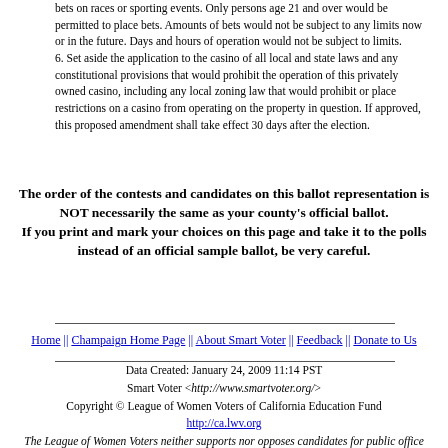bets on races or sporting events. Only persons age 21 and over would be permitted to place bets. Amounts of bets would not be subject to any limits now or in the future. Days and hours of operation would not be subject to limits.
6. Set aside the application to the casino of all local and state laws and any constitutional provisions that would prohibit the operation of this privately owned casino, including any local zoning law that would prohibit or place restrictions on a casino from operating on the property in question. If approved, this proposed amendment shall take effect 30 days after the election.
The order of the contests and candidates on this ballot representation is NOT necessarily the same as your county's official ballot.
If you print and mark your choices on this page and take it to the polls instead of an official sample ballot, be very careful.
Home || Champaign Home Page || About Smart Voter || Feedback || Donate to Us
Data Created: January 24, 2009 11:14 PST
Smart Voter <http://www.smartvoter.org/>
Copyright © League of Women Voters of California Education Fund
http://ca.lwv.org
The League of Women Voters neither supports nor opposes candidates for public office or political parties.